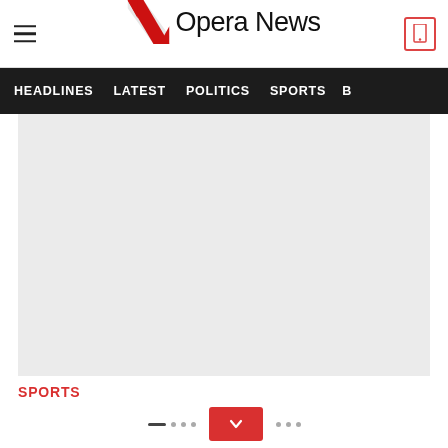Opera News
HEADLINES  LATEST  POLITICS  SPORTS  B
[Figure (photo): Main article image placeholder (light gray box)]
SPORTS